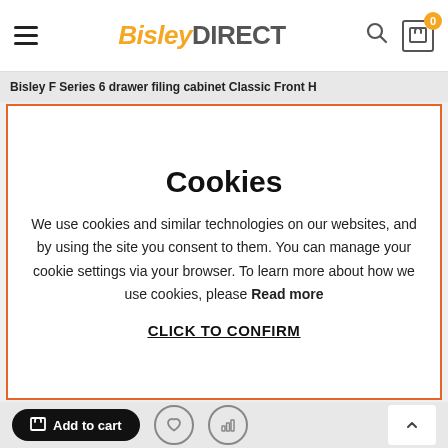BisleyDIRECT — navigation header with hamburger menu, logo, search and cart icons
Bisley F Series 6 drawer filing cabinet Classic Front H
Cookies
We use cookies and similar technologies on our websites, and by using the site you consent to them. You can manage your cookie settings via your browser. To learn more about how we use cookies, please Read more
CLICK TO CONFIRM
Add to cart | heart icon | chart icon | back to top